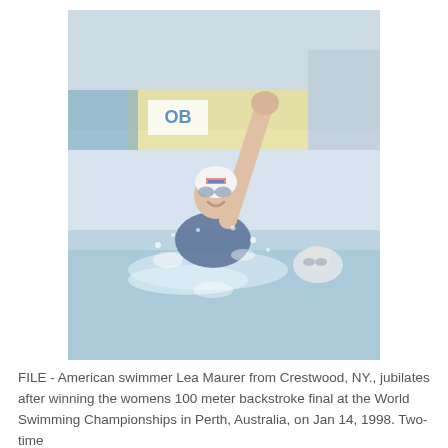[Figure (photo): A female swimmer wearing a white swim cap with USA flag logo and goggles, raising her right fist in celebration after winning a race. She is in a swimming pool wearing a navy blue swimsuit. Water is splashing around her. Another swimmer with goggles is visible in the background. The pool setting shows yellow and blue advertising banners in the background.]
FILE - American swimmer Lea Maurer from Crestwood, NY., jubilates after winning the womens 100 meter backstroke final at the World Swimming Championships in Perth, Australia, on Jan 14, 1998. Two-time